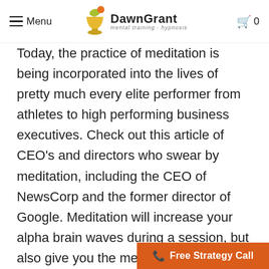Menu | DawnGrant mental training hypnosis | 0
Today, the practice of meditation is being incorporated into the lives of pretty much every elite performer from athletes to high performing business executives. Check out this article of CEO’s and directors who swear by meditation, including the CEO of NewsCorp and the former director of Google. Meditation will increase your alpha brain waves during a session, but also give you the mental tools to re-enter that state of mind at will. The more you practice, the better you will become at it, and the more automatic, natural and easy it will be. When you stop practicing, it becomes more difficult again. This is why people schedule meditati…